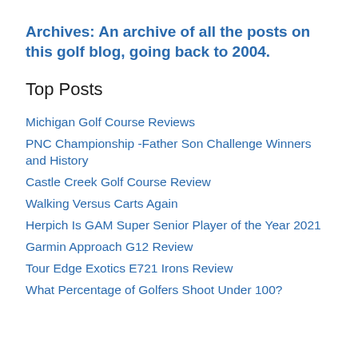Archives: An archive of all the posts on this golf blog, going back to 2004.
Top Posts
Michigan Golf Course Reviews
PNC Championship -Father Son Challenge Winners and History
Castle Creek Golf Course Review
Walking Versus Carts Again
Herpich Is GAM Super Senior Player of the Year 2021
Garmin Approach G12 Review
Tour Edge Exotics E721 Irons Review
What Percentage of Golfers Shoot Under 100?